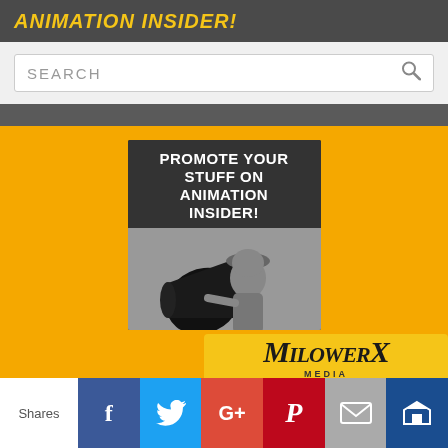ANIMATION INSIDER!
SEARCH
[Figure (illustration): Advertisement banner: 'PROMOTE YOUR STUFF ON ANIMATION INSIDER!' with black and white photo of a boy with a megaphone]
[Figure (logo): MilowerX Media logo on yellow/gold background]
Shares
f (Facebook share button)
Twitter share button
G+ (Google+ share button)
Pinterest share button
Email share button
Crown/bookmark share button